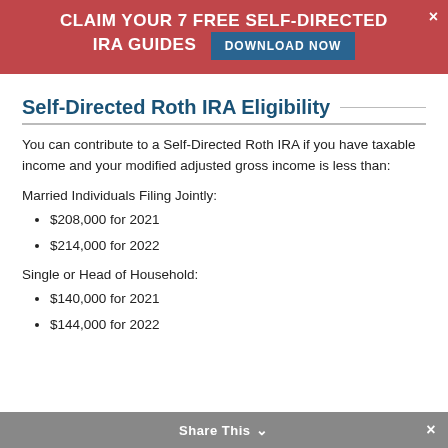CLAIM YOUR 7 FREE SELF-DIRECTED IRA GUIDES  DOWNLOAD NOW
Self-Directed Roth IRA Eligibility
You can contribute to a Self-Directed Roth IRA if you have taxable income and your modified adjusted gross income is less than:
Married Individuals Filing Jointly:
$208,000 for 2021
$214,000 for 2022
Single or Head of Household:
$140,000 for 2021
$144,000 for 2022
Share This